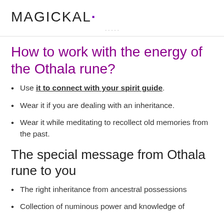MAGICKAL·
· · · · ·
How to work with the energy of the Othala rune?
Use it to connect with your spirit guide.
Wear it if you are dealing with an inheritance.
Wear it while meditating to recollect old memories from the past.
The special message from Othala rune to you
The right inheritance from ancestral possessions
Collection of numinous power and knowledge of